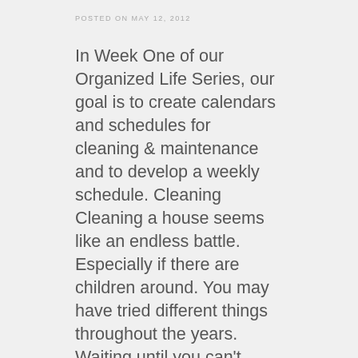POSTED ON MAY 12, 2012
In Week One of our Organized Life Series, our goal is to create calendars and schedules for cleaning & maintenance and to develop a weekly schedule. Cleaning Cleaning a house seems like an endless battle. Especially if there are children around. You may have tried different things throughout the years. Waiting until you can't take it anymore and doing an 8-hour cleaning spree. Or having one cleaning day a week that you...